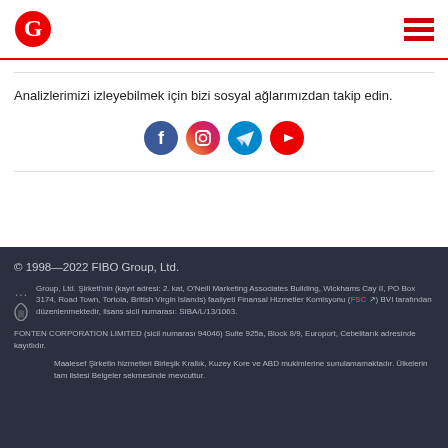FIBO Group logo and navigation
Analizlerimizi izleyebilmek için bizi sosyal ağlarımızdan takip edin.
[Figure (infographic): Social media icons: Facebook (blue circle), Instagram (gradient circle), Telegram (blue circle), YouTube (red circle)]
© 1998—2022 FIBO Group, Ltd.
...FIBO Group, Ltd. Şirketi'nin (kayıt adresi: 2. kat, O'Neill Marketing Associates Building, Wickhams Cay II, PO Box 3174, Road Town, Tortola, British Virgin Islands) faaliyeti Finansal Hizmetler Komisyonu (FSC) BVI tarafından düzenlenmektedir, lisans sicil numarası: SIBA/L/13/1063.
FONTEN CORPORATION LIMITED (sicil numarası 94046) Suite 925a, Block 8/9, Europort, Cebelitarık adresinde kayıtlıdır.
Maalesef Şirketin hizmetleri Birleşik Krallık, Kuzey Kore ve ABD mukimlerine sunulamamaktadır. Ülkelerin tam listesi Belgeler sekmesinde mevcuttur.